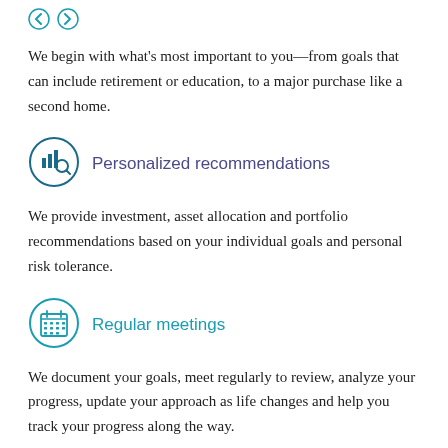[Figure (other): Navigation arrows (left and right chevron icons)]
We begin with what's most important to you—from goals that can include retirement or education, to a major purchase like a second home.
[Figure (illustration): Circular icon with bar chart and magnifying glass, representing personalized recommendations]
Personalized recommendations
We provide investment, asset allocation and portfolio recommendations based on your individual goals and personal risk tolerance.
[Figure (illustration): Circular icon with calendar grid, representing regular meetings]
Regular meetings
We document your goals, meet regularly to review, analyze your progress, update your approach as life changes and help you track your progress along the way.